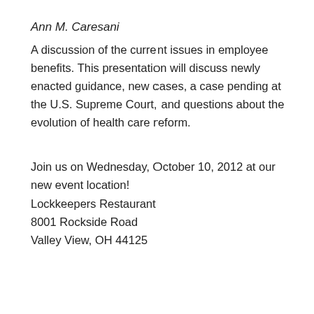Ann M. Caresani
A discussion of the current issues in employee benefits. This presentation will discuss newly enacted guidance, new cases, a case pending at the U.S. Supreme Court, and questions about the evolution of health care reform.
Join us on Wednesday, October 10, 2012 at our new event location!
Lockkeepers Restaurant
8001 Rockside Road
Valley View, OH 44125